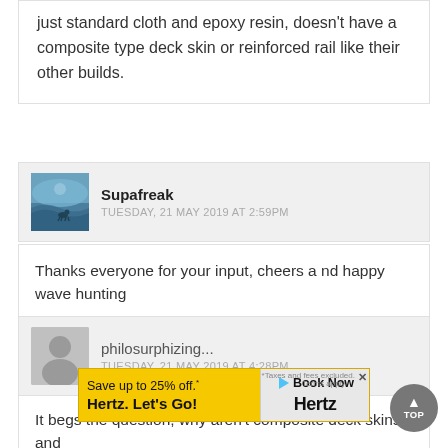just standard cloth and epoxy resin, doesn't have a composite type deck skin or reinforced rail like their other builds.
Supafreak
TUESDAY, 21 MAY 2019 at 2:59PM
Thanks everyone for your input, cheers a nd happy wave hunting
philosurphizing...
TUESDAY, 21 MAY 2019 at 4:28PM
It begs the question, why aren't composite deck skins and bott... I wa...
[Figure (illustration): Supafreak user avatar - ocean/wave scene with blue tones]
[Figure (illustration): philosurphizing user avatar - grey silhouette placeholder]
[Figure (other): Hertz advertisement banner: Save up to 25% off. Hertz. Let's Go! Book Now.]
[Figure (other): TOP scroll-to-top button, dark grey circle with upward arrow]